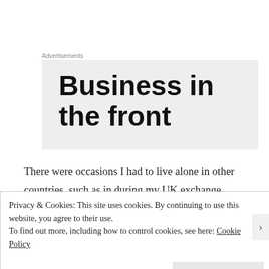Advertisements
[Figure (other): Advertisement banner showing text 'Business in the front' on a light beige/gray background]
There were occasions I had to live alone in other countries, such as in during my UK exchange program back in University, and I am all too aware I kind of look different I enjoy exploring this in fiction.
Privacy & Cookies: This site uses cookies. By continuing to use this website, you agree to their use.
To find out more, including how to control cookies, see here: Cookie Policy
Close and accept